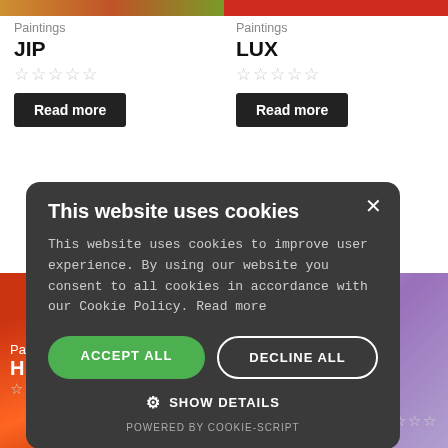[Figure (photo): Top image strip showing two paintings partially visible at the top of the page]
Paintings
JIP
☆☆☆☆☆
Read more
Paintings
LUX
☆☆☆☆☆
Read more
[Figure (screenshot): Cookie consent dialog overlay on dark background with accept/decline buttons]
This website uses cookies
This website uses cookies to improve user experience. By using our website you consent to all cookies in accordance with our Cookie Policy. Read more
ACCEPT ALL
DECLINE ALL
SHOW DETAILS
POWERED BY COOKIE-SCRIPT
[Figure (photo): Bottom partial row showing two more paintings]
Pa
H
☆☆☆☆☆
☆☆☆☆☆